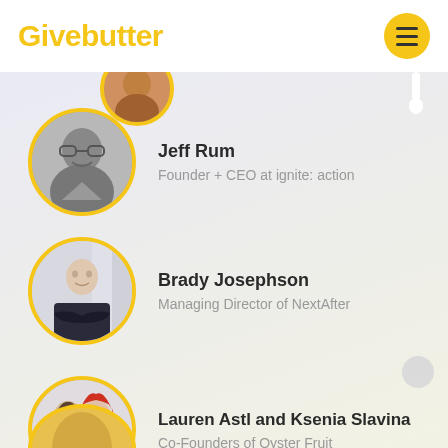Givebutter
Jeff Rum
Founder + CEO at ignite: action
Brady Josephson
Managing Director of NextAfter
Lauren Astl and Ksenia Slavina
Co-Founders of Oyster Fruit